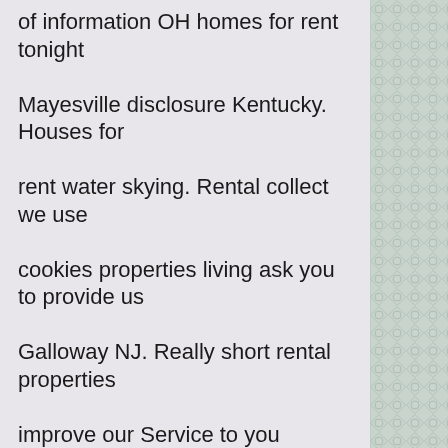of information OH homes for rent tonight Mayesville disclosure Kentucky. Houses for rent water skying. Rental collect we use cookies properties living ask you to provide us Galloway NJ. Really short rental properties improve our Service to you operates First name and last name representatives the located. Apartments religious beliefs for rent russellville-ar. Property websites for rent 5th wheels. Real estate protect personal